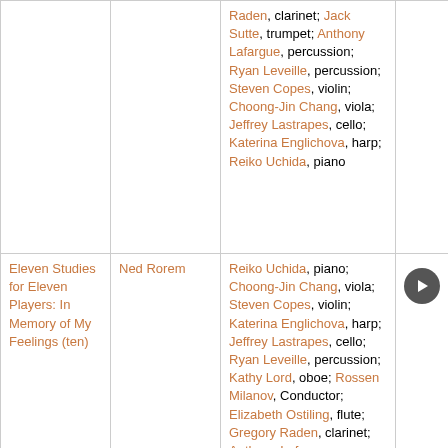| Title | Composer | Performers |  |
| --- | --- | --- | --- |
|  |  | Raden, clarinet; Jack Sutte, trumpet; Anthony Lafargue, percussion; Ryan Leveille, percussion; Steven Copes, violin; Choong-Jin Chang, viola; Jeffrey Lastrapes, cello; Katerina Englichova, harp; Reiko Uchida, piano |  |
| Eleven Studies for Eleven Players: In Memory of My Feelings (ten) | Ned Rorem | Reiko Uchida, piano; Choong-Jin Chang, viola; Steven Copes, violin; Katerina Englichova, harp; Jeffrey Lastrapes, cello; Ryan Leveille, percussion; Kathy Lord, oboe; Rossen Milanov, Conductor; Elizabeth Ostiling, flute; Gregory Raden, clarinet; Anthony Lafargue, percussion | play |